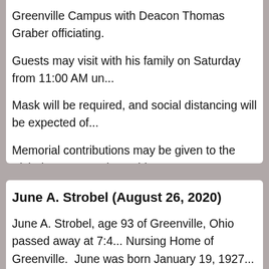Greenville Campus with Deacon Thomas Graber officiating.
Guests may visit with his family on Saturday from 11:00 AM un...
Mask will be required, and social distancing will be expected of...
Memorial contributions may be given to the Alzheimer's Associa... Ohio 45459.
Online condolences and Hugs-From-Home may be shared with...
June A. Strobel (August 26, 2020)
June A. Strobel, age 93 of Greenville, Ohio passed away at 7:4... Nursing Home of Greenville. June was born January 19, 1927... Nellie Jane (Davison) Prasuhn.
She was a member of the St. John Lutheran Church of Greenv... gardening, spending time outdoors and special time with her fa...
In addition to her parents, she was preceded in death by her b...